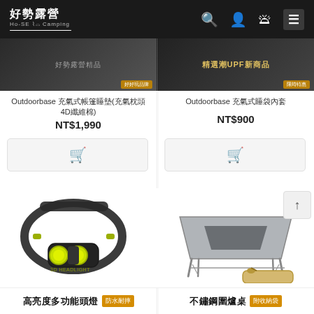好勢露營 Ho-SE Camping
Outdoorbase 充氣式帳篷睡墊(充氣枕頭4D纖維棉)
NT$1,990
Outdoorbase 充氣式睡袋內套
NT$900
[Figure (photo): LED headlamp, black and green color, labeled 3D HEADLIGHT]
[Figure (photo): Stainless steel fire pit table with carrying bag]
高亮度多功能頭燈 防水耐摔
不鏽鋼圍爐桌 附收納袋